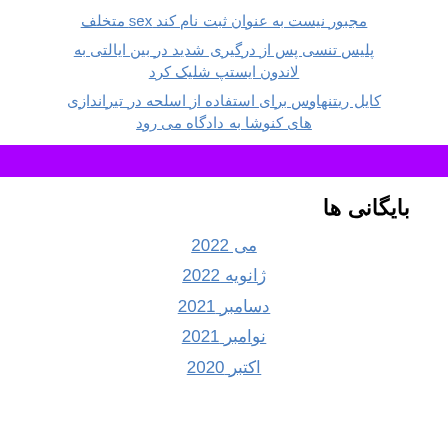مجبور نیست به عنوان ثبت نام کند sex متخلف
پلیس تنسی پس از درگیری شدید در بین ایالتی به لاندون ایستپ شلیک کرد
کایل ریتنهاوس برای استفاده از اسلحه در تیراندازی های کنوشا به دادگاه می رود
بایگانی ها
می 2022
ژانویه 2022
دسامبر 2021
نوامبر 2021
اکتبر 2020